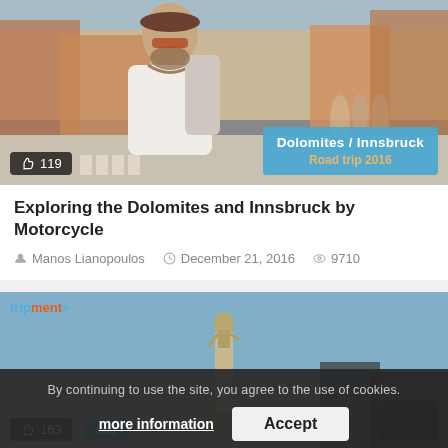[Figure (photo): Man with camera in a street scene in an European city, with a blue overlay badge showing 'Dolomites / Innsbruck Road trip 2016' and a like count of 119]
Exploring the Dolomites and Innsbruck by Motorcycle
Manos Lianopoulos  December 21, 2016  9710
[Figure (photo): Outdoor scene with a monument/statue on a column against blue sky, with tripment logo overlay, like count 163, and a cookie consent banner overlay]
By continuing to use the site, you agree to the use of cookies.
more information  Accept